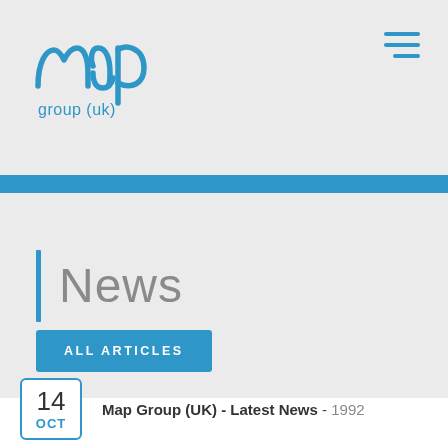[Figure (logo): Map Group (UK) logo in blue handwritten-style font]
News
ALL ARTICLES
Map Group (UK) - Latest News - 1992
14 Oct